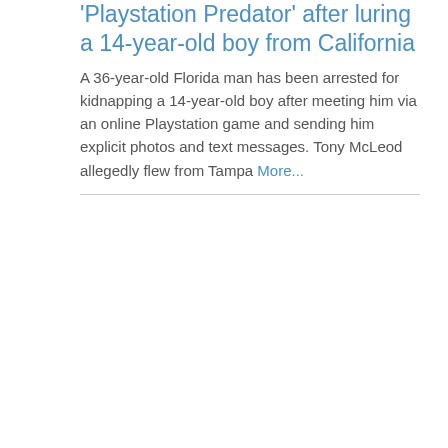Man arrested and labeled 'Playstation Predator' after luring a 14-year-old boy from California
A 36-year-old Florida man has been arrested for kidnapping a 14-year-old boy after meeting him via an online Playstation game and sending him explicit photos and text messages. Tony McLeod allegedly flew from Tampa More...